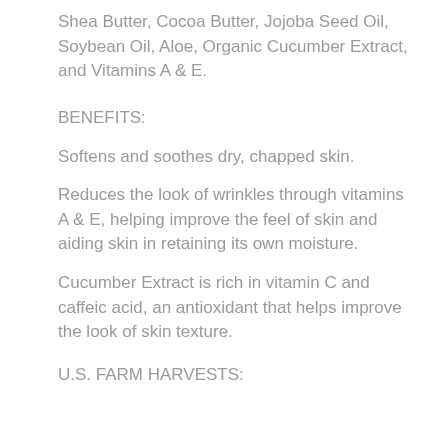Shea Butter, Cocoa Butter, Jojoba Seed Oil, Soybean Oil, Aloe, Organic Cucumber Extract, and Vitamins A & E.
BENEFITS:
Softens and soothes dry, chapped skin.
Reduces the look of wrinkles through vitamins A & E, helping improve the feel of skin and aiding skin in retaining its own moisture.
Cucumber Extract is rich in vitamin C and caffeic acid, an antioxidant that helps improve the look of skin texture.
U.S. FARM HARVESTS: